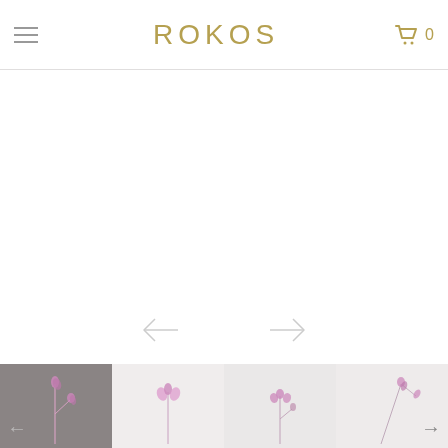ROKOS navigation header with hamburger menu, ROKOS logo, and cart icon showing 0
[Figure (screenshot): Main product image area — white/blank display area for product photography]
[Figure (infographic): Navigation arrows (back/forward) for cycling through product images]
[Figure (photo): Four product thumbnail images showing botanical/floral photographs on various backgrounds, with left and right navigation arrows]
[Figure (photo): Thumbnail 1: dark grey background with pink/purple botanical flower stem]
[Figure (photo): Thumbnail 2: light grey/white background with delicate pink flower]
[Figure (photo): Thumbnail 3: light grey background with small pink flower branch]
[Figure (photo): Thumbnail 4: light background with pink botanical flower branch]